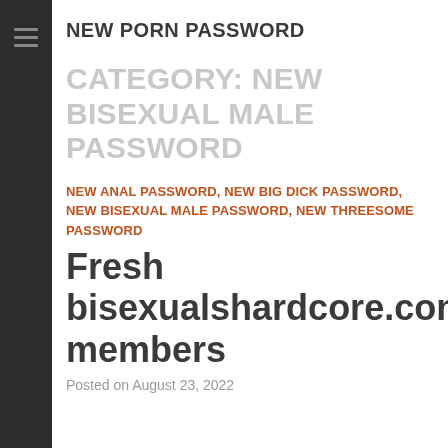NEW PORN PASSWORD
CATEGORY: NEW BISEXUAL MALE PASSWORD
NEW ANAL PASSWORD, NEW BIG DICK PASSWORD, NEW BISEXUAL MALE PASSWORD, NEW THREESOME PASSWORD
Fresh bisexualshardcore.com members
Posted on August 23, 2022